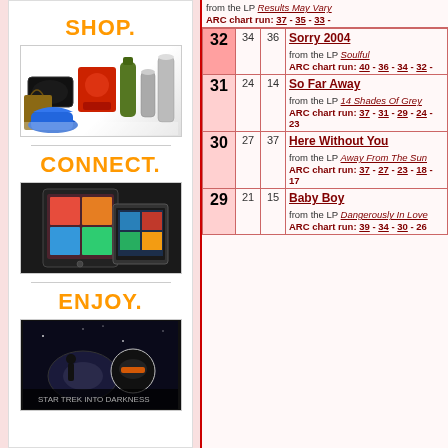[Figure (infographic): Amazon ad with SHOP. text and electronics products image]
[Figure (infographic): Amazon ad with CONNECT. text and Kindle tablets image]
[Figure (infographic): Amazon ad with ENJOY. text and movies/Blu-ray image]
| Rank | LW | PK | Song Info |
| --- | --- | --- | --- |
|  |  |  | from the LP Results May Vary / ARC chart run: 37 - 35 - 33 - |
| 32 | 34 | 36 | Sorry 2004 / from the LP Soulful / ARC chart run: 40 - 36 - 34 - 32 - |
| 31 | 24 | 14 | So Far Away / from the LP 14 Shades Of Grey / ARC chart run: 37 - 31 - 29 - 24 - 23 |
| 30 | 27 | 37 | Here Without You / from the LP Away From The Sun / ARC chart run: 37 - 27 - 23 - 18 - 17 |
| 29 | 21 | 15 | Baby Boy / from the LP Dangerously In Love / ARC chart run: 39 - 34 - 30 - 26 |